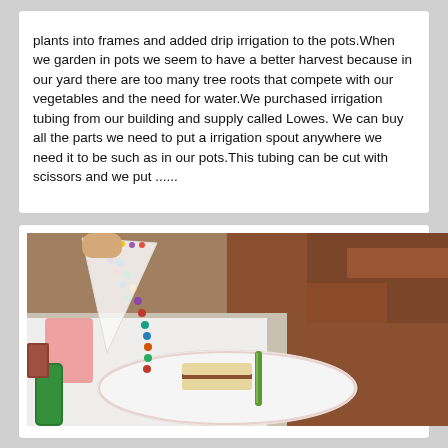plants into frames and added drip irrigation to the pots.When we garden in pots we seem to have a better harvest because in our yard there are too many tree roots that compete with our vegetables and the need for water.We purchased irrigation tubing from our building and supply called Lowes. We can buy all the parts we need to put a irrigation spout anywhere we need it to be such as in our pots.This tubing can be cut with scissors and we put ......
[Figure (photo): A photo showing a white plate with a sandwich and a piece of celery or green vegetable, a pink drink in a cup, beaded necklace decoration, on what appears to be an outdoor table setting with brick background.]